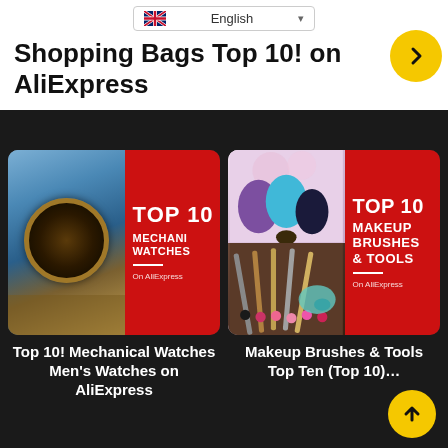English
Shopping Bags Top 10! on AliExpress
[Figure (screenshot): Thumbnail for Top 10 Mechanical Watches Men's Watches on AliExpress — watch photo on left, red panel with TOP 10 MECHANICAL WATCHES text on right]
Top 10! Mechanical Watches Men's Watches on AliExpress
[Figure (screenshot): Thumbnail for Makeup Brushes & Tools Top Ten — makeup sponges and brushes photo on left, red panel with TOP 10 MAKEUP BRUSHES & TOOLS text on right]
Makeup Brushes & Tools Top Ten (Top 10)…